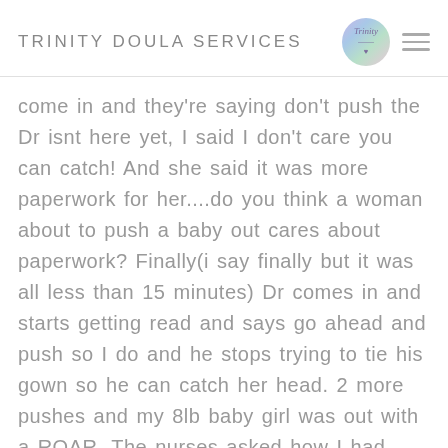TRINITY DOULA SERVICES
come in and they're saying don't push the Dr isnt here yet, I said I don't care you can catch! And she said it was more paperwork for her....do you think a woman about to push a baby out cares about paperwork? Finally(i say finally but it was all less than 15 minutes) Dr comes in and starts getting read and says go ahead and push so I do and he stops trying to tie his gown so he can catch her head. 2 more pushes and my 8lb baby girl was out with a ROAR. The nurses asked how I had pushed an 8lb vbac baby out so quickly with no tears